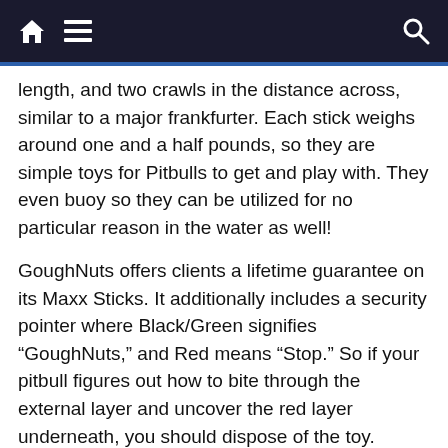[navigation bar with home, menu, and search icons]
length, and two crawls in the distance across, similar to a major frankfurter. Each stick weighs around one and a half pounds, so they are simple toys for Pitbulls to get and play with. They even buoy so they can be utilized for no particular reason in the water as well!
GoughNuts offers clients a lifetime guarantee on its Maxx Sticks. It additionally includes a security pointer where Black/Green signifies “GoughNuts,” and Red means “Stop.” So if your pitbull figures out how to bite through the external layer and uncover the red layer underneath, you should dispose of the toy.
It is a sensibly valued toy for the great chewers. It is a toy that pitbull owners can purchase that will